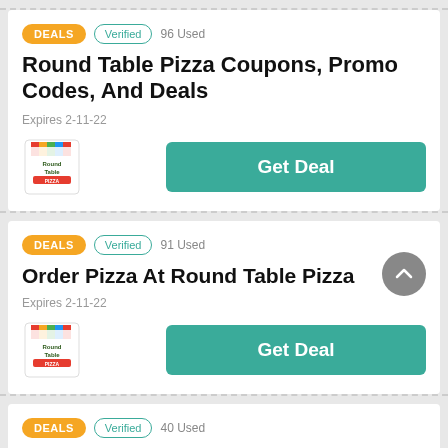DEALS | Verified | 96 Used
Round Table Pizza Coupons, Promo Codes, And Deals
Expires 2-11-22
[Figure (logo): Round Table Pizza logo]
Get Deal
DEALS | Verified | 91 Used
Order Pizza At Round Table Pizza
Expires 2-11-22
[Figure (logo): Round Table Pizza logo]
Get Deal
DEALS | Verified | 40 Used